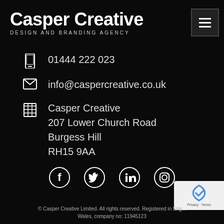Casper Creative
DESIGN AND BRANDING AGENCY
01444 222 023
info@caspercreative.co.uk
Casper Creative
207 Lower Church Road
Burgess Hill
RH15 9AA
[Figure (infographic): Social media icons row: Facebook, Twitter/X, LinkedIn, Instagram]
© Casper Creative Limited. All rights reserved. Registered in England and Wales, company no: 11945123